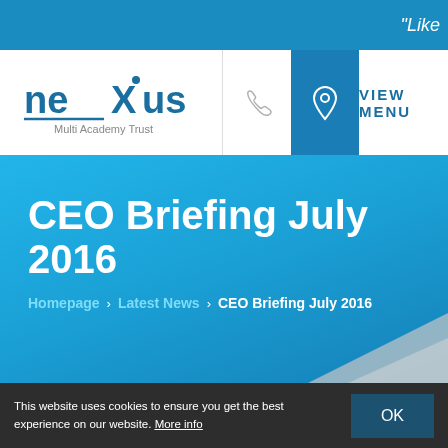"Like
[Figure (logo): Nexus Multi Academy Trust logo with stylized X]
VIEW MENU
CEO Briefing July 2016
Homepage > Latest News > CEO Briefing July 2016
This website uses cookies to ensure you get the best experience on our website. More info